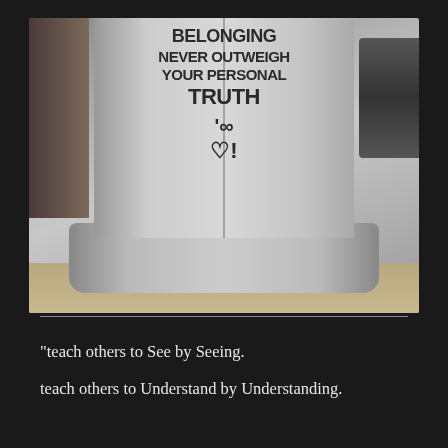[Figure (photo): Photograph of a silver painted concrete pillar/bollard base with graffiti text reading 'BELONGING NEVER OUTWEIGH YOUR PERSONAL TRUTH' with an infinity symbol, heart symbol, and exclamation marks drawn below. A car wheel is visible on the right side. The pillar sits on a sidewalk.]
“teach others to See by Seeing.
teach others to Understand by Understanding.